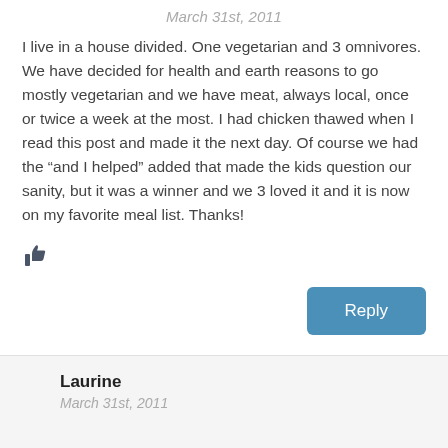March 31st, 2011
I live in a house divided. One vegetarian and 3 omnivores. We have decided for health and earth reasons to go mostly vegetarian and we have meat, always local, once or twice a week at the most. I had chicken thawed when I read this post and made it the next day. Of course we had the “and I helped” added that made the kids question our sanity, but it was a winner and we 3 loved it and it is now on my favorite meal list. Thanks!
[Figure (illustration): Thumbs up / like icon in dark blue-gray color]
Reply
Laurine
March 31st, 2011